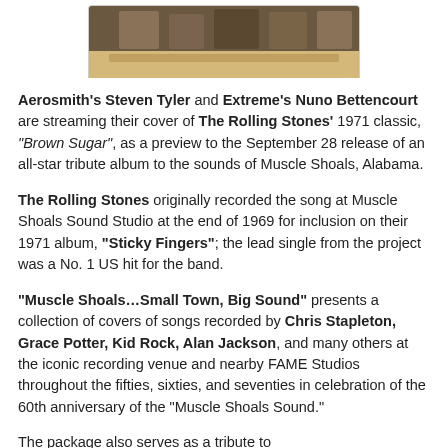[Figure (photo): Partial photo of people at a recording or performance venue, cropped at top of page]
Aerosmith's Steven Tyler and Extreme's Nuno Bettencourt are streaming their cover of The Rolling Stones' 1971 classic, "Brown Sugar", as a preview to the September 28 release of an all-star tribute album to the sounds of Muscle Shoals, Alabama.
The Rolling Stones originally recorded the song at Muscle Shoals Sound Studio at the end of 1969 for inclusion on their 1971 album, "Sticky Fingers"; the lead single from the project was a No. 1 US hit for the band.
"Muscle Shoals...Small Town, Big Sound" presents a collection of covers of songs recorded by Chris Stapleton, Grace Potter, Kid Rock, Alan Jackson, and many others at the iconic recording venue and nearby FAME Studios throughout the fifties, sixties, and seventies in celebration of the 60th anniversary of the "Muscle Shoals Sound."
The package also serves as a tribute to